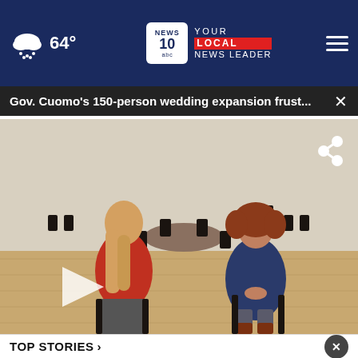64° YOUR LOCAL NEWS LEADER — NEWS 10 ABC
Gov. Cuomo's 150-person wedding expansion frust...
[Figure (screenshot): Video thumbnail showing two women seated face-to-face in a banquet hall with empty chairs and round tables in the background. One woman wears red, the other navy blue. A play button is overlaid on the left. A share icon is in the top-right corner.]
TOP STORIES ›
[Figure (screenshot): Ad banner showing a business listing: '241 Fort Evans Rd, Ste 491, Leesburg' with a FoxBankLogo and a directions icon, with text 'In-store shopping']